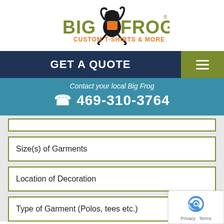[Figure (logo): Big Frog Custom T-Shirts & More logo with frog silhouette]
GET A QUOTE
Contact your local Big Frog
(c)469-310-3764
Size(s) of Garments
Location of Decoration
Type of Garment (Polos, tees etc.)